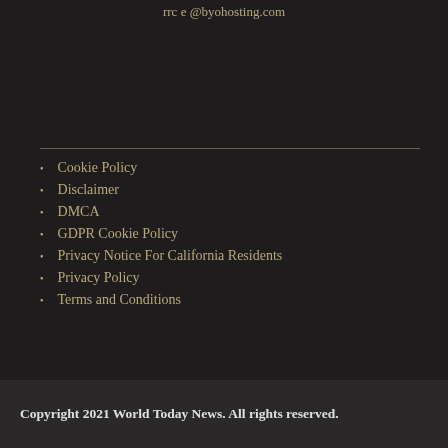rrc e @byohosting.com
Cookie Policy
Disclaimer
DMCA
GDPR Cookie Policy
Privacy Notice For California Residents
Privacy Policy
Terms and Conditions
Copyright 2021 World Today News. All rights reserved.